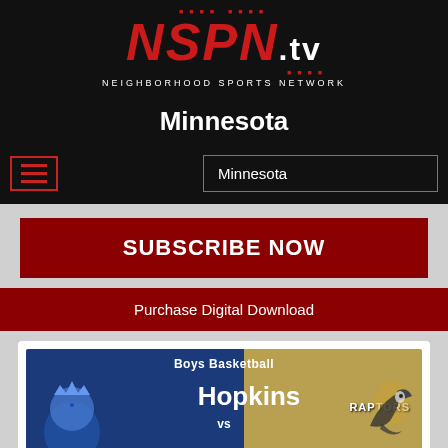[Figure (logo): NSPN.TV Neighborhood Sports Network logo — red bold italic NSPN letters with .tv in white, subtitle NEIGHBORHOOD SPORTS NETWORK, on black background]
Minnesota
[Figure (screenshot): Navigation row with hamburger menu icon (red lines on black) on left and a search/text input box showing 'Minnesota' on right, on black background]
SUBSCRIBE NOW
Purchase Digital Download
[Figure (photo): Boys Basketball game card: Hopkins vs East Ridge (Raptors). Blue background on left with Hopkins lion logo, gold/tan background on right with Raptors bird logo. Text: Boys Basketball, Hopkins, vs, RAPTORS, East Ridge]